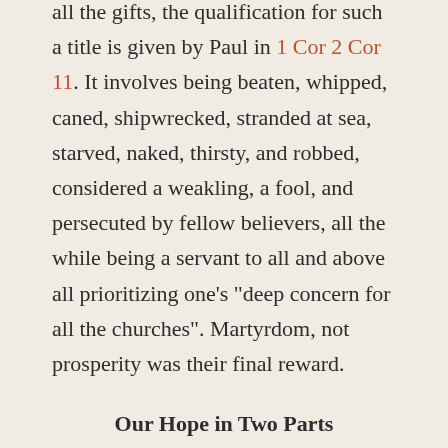all the gifts, the qualification for such a title is given by Paul in 1 Cor 2 Cor 11. It involves being beaten, whipped, caned, shipwrecked, stranded at sea, starved, naked, thirsty, and robbed, considered a weakling, a fool, and persecuted by fellow believers, all the while being a servant to all and above all prioritizing one’s “deep concern for all the churches”. Martyrdom, not prosperity was their final reward.
Our Hope in Two Parts
We must understand that the Gospel message preached by the apostles was two-fold. The first